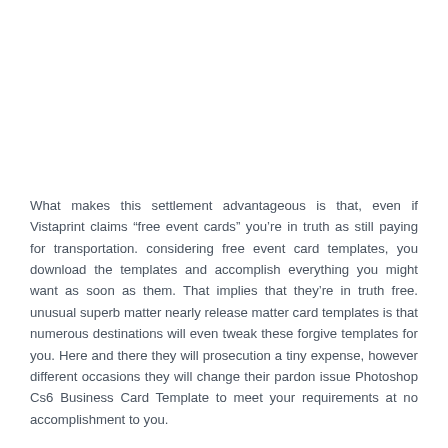What makes this settlement advantageous is that, even if Vistaprint claims “free event cards” you’re in truth as still paying for transportation. considering free event card templates, you download the templates and accomplish everything you might want as soon as them. That implies that they’re in truth free. unusual superb matter nearly release matter card templates is that numerous destinations will even tweak these forgive templates for you. Here and there they will prosecution a tiny expense, however different occasions they will change their pardon issue Photoshop Cs6 Business Card Template to meet your requirements at no accomplishment to you.